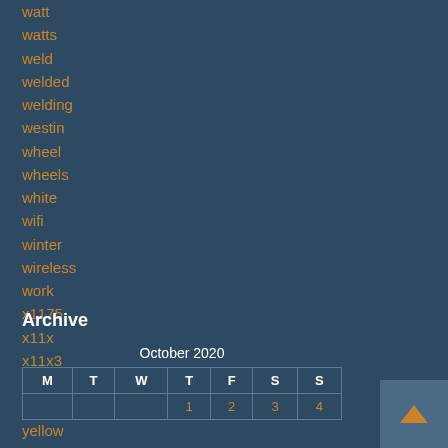watt
watts
weld
welded
welding
westin
wheel
wheels
white
wifi
winter
wireless
work
x1175
x11x
x11x3
xprite
xtraspeed
yellow
Archive
| M | T | W | T | F | S | S |
| --- | --- | --- | --- | --- | --- | --- |
|  |  |  | 1 | 2 | 3 | 4 |